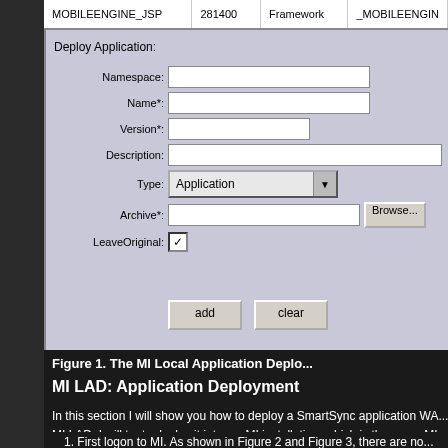[Figure (screenshot): Deploy Application form with fields: Namespace, Name*, Version*, Description, Type (Application dropdown), Archive*, LeaveOriginal checkbox, and add/clear buttons. Top row shows MOBILEENGINE_JSP, 281400, Framework, _MOBILEENGIN...]
Figure 1. The MI Local Application Deplo...
MI LAD: Application Deployment
In this section I will show you how to deploy a SmartSync application WA... MI LAD, I will try to deploy it into my MI installation, which is the same MI...
1. First logon to MI. As shown in Figure 2 and Figure 3, there are no... the framework itself.